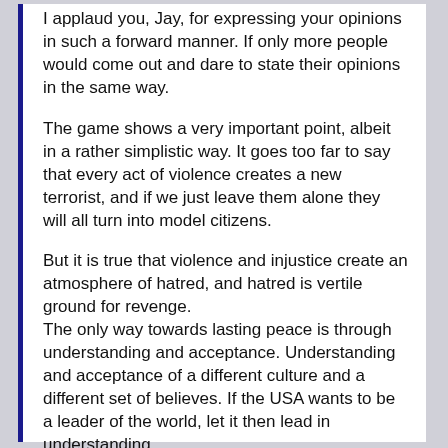I applaud you, Jay, for expressing your opinions in such a forward manner. If only more people would come out and dare to state their opinions in the same way.
The game shows a very important point, albeit in a rather simplistic way. It goes too far to say that every act of violence creates a new terrorist, and if we just leave them alone they will all turn into model citizens.
But it is true that violence and injustice create an atmosphere of hatred, and hatred is vertile ground for revenge.
The only way towards lasting peace is through understanding and acceptance. Understanding and acceptance of a different culture and a different set of believes. If the USA wants to be a leader of the world, let it then lead in understanding.
[Figure (illustration): A right-pointing arrow/reply icon symbol in dark color]